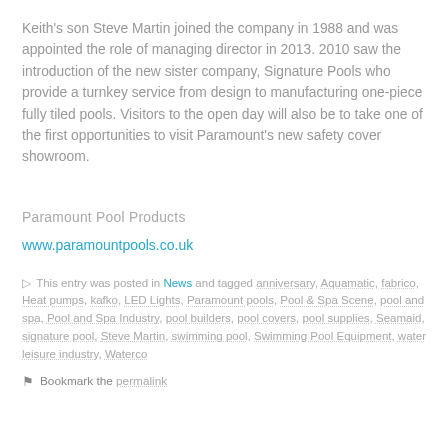Keith's son Steve Martin joined the company in 1988 and was appointed the role of managing director in 2013. 2010 saw the introduction of the new sister company, Signature Pools who provide a turnkey service from design to manufacturing one-piece fully tiled pools. Visitors to the open day will also be to take one of the first opportunities to visit Paramount's new safety cover showroom.
Paramount Pool Products
www.paramountpools.co.uk
This entry was posted in News and tagged anniversary, Aquamatic, fabrico, Heat pumps, kafko, LED Lights, Paramount pools, Pool & Spa Scene, pool and spa, Pool and Spa Industry, pool builders, pool covers, pool supplies, Seamaid, signature pool, Steve Martin, swimming pool, Swimming Pool Equipment, water leisure industry, Waterco
Bookmark the permalink